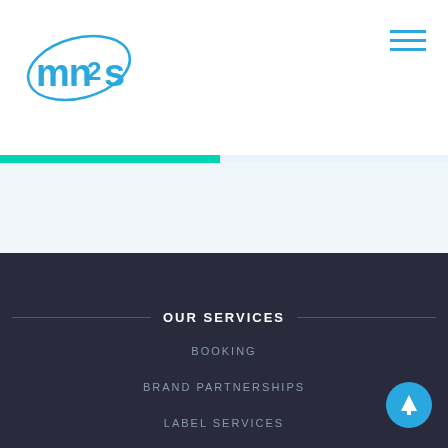[Figure (logo): mn2s logo in blue text with a swoosh/orbit graphic around it]
[Figure (other): Hamburger menu icon with three horizontal blue lines]
[Figure (other): Teal/cyan progress bar at top of dark section]
OUR SERVICES
BOOKING
BRAND PARTNERSHIPS
LABEL SERVICES
[Figure (other): Blue circular back-to-top button with upward arrow]